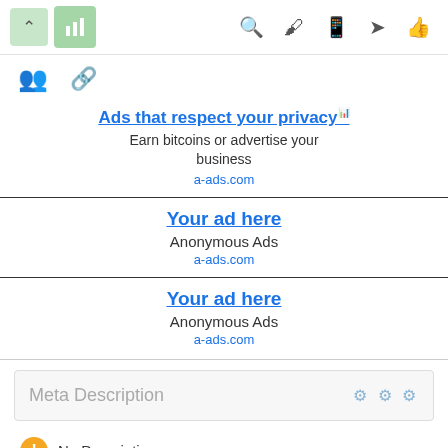[Figure (screenshot): Top toolbar with navigation and action icons including up arrow (white on light green), bar chart icon (white on green), search, bookmark, phone, send, and thumbs up icons]
[Figure (screenshot): Secondary icon row with people/group icon and link/chain icon]
Ads that respect your privacy
Earn bitcoins or advertise your business
a-ads.com
Your ad here
Anonymous Ads
a-ads.com
Your ad here
Anonymous Ads
a-ads.com
Meta Description
No Description
Length: 0 character(s)